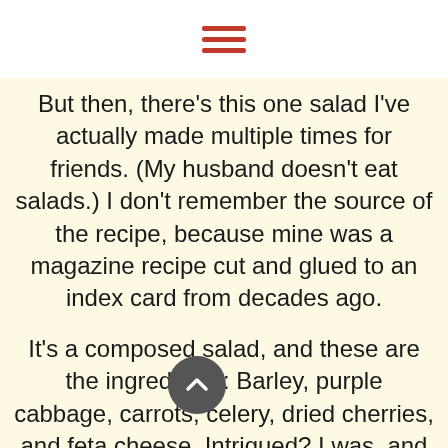[Figure (other): Hamburger menu icon with three horizontal red lines]
But then, there's this one salad I've actually made multiple times for friends. (My husband doesn't eat salads.) I don't remember the source of the recipe, because mine was a magazine recipe cut and glued to an index card from decades ago.
It's a composed salad, and these are the ingredients: Barley, purple cabbage, carrots, celery, dried cherries, and feta cheese. Intrigued? I was, and now I'm hooked.